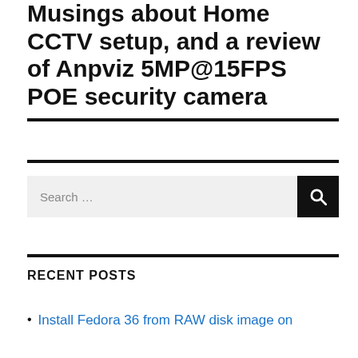Musings about Home CCTV setup, and a review of Anpviz 5MP@15FPS POE security camera
RECENT POSTS
Install Fedora 36 from RAW disk image on